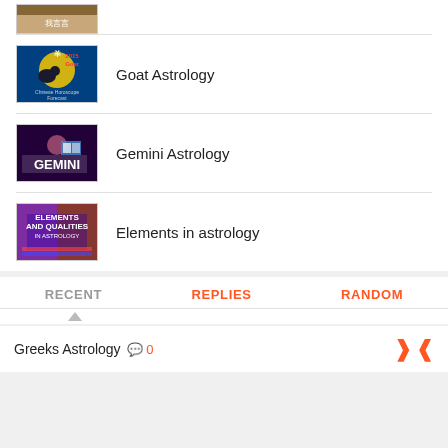[Figure (screenshot): Partial thumbnail of a previous list item at top]
Goat Astrology
Gemini Astrology
Elements in astrology
RECENT   REPLIES   RANDOM
Greeks Astrology 0